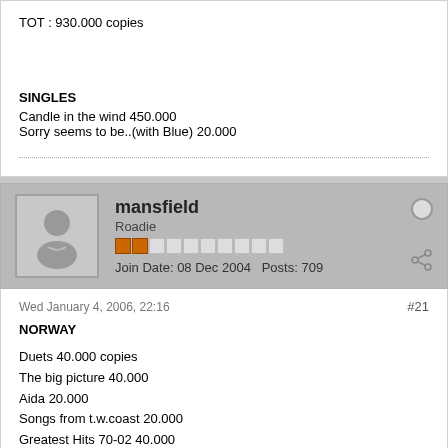TOT : 930.000 copies
SINGLES
Candle in the wind 450.000
Sorry seems to be..(with Blue) 20.000
mansfield
Roadie
Join Date: 08 Dec 2004   Posts: 709
Wed January 4, 2006, 22:16
#21
NORWAY

Duets 40.000 copies
The big picture 40.000
Aida 20.000
Songs from t.w.coast 20.000
Greatest Hits 70-02 40.000

TOT : 160.000